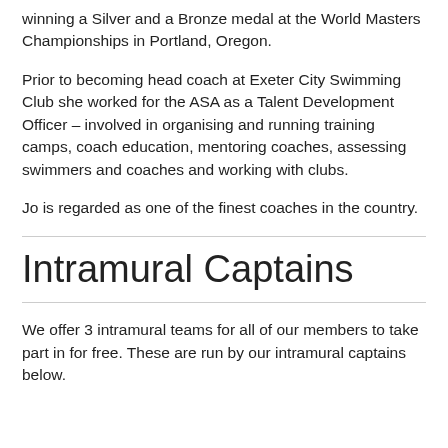winning a Silver and a Bronze medal at the World Masters Championships in Portland, Oregon.
Prior to becoming head coach at Exeter City Swimming Club she worked for the ASA as a Talent Development Officer – involved in organising and running training camps, coach education, mentoring coaches, assessing swimmers and coaches and working with clubs.
Jo is regarded as one of the finest coaches in the country.
Intramural Captains
We offer 3 intramural teams for all of our members to take part in for free. These are run by our intramural captains below.